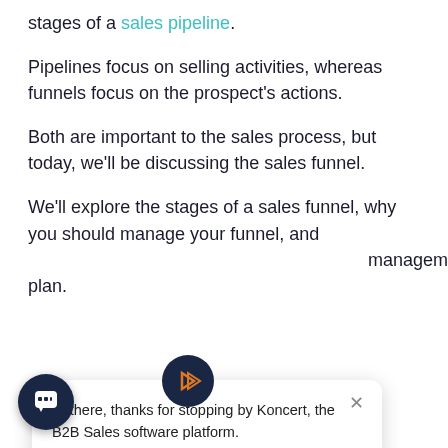stages of a sales pipeline.
Pipelines focus on selling activities, whereas funnels focus on the prospect’s actions.
Both are important to the sales process, but today, we’ll be discussing the sales funnel.
We’ll explore the stages of a sales funnel, why you should manage your funnel, and …management plan.
[Figure (screenshot): Chat popup overlay from Koncert B2B Sales software with logo icon, close button, and text: Hi there, thanks for stopping by Koncert, the B2B Sales software platform.]
[Figure (infographic): Bottom banner ad for 35 Outbound Prospecting Mistakes free download, with book cover image and orange/green decorative circles.]